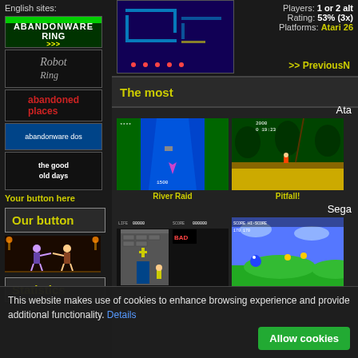English sites:
[Figure (logo): Abandonware Ring banner]
[Figure (logo): Robot Ring banner]
[Figure (logo): Abandoned Places banner]
[Figure (logo): Abandonware DOS banner]
[Figure (logo): The Good Old Days banner]
Your button here
Our button
[Figure (illustration): Fighting game characters illustration]
Statistics
Players: 1 or 2 alternating
Rating: 53% (3x)
Platforms: Atari 26
>> PreviousN
The most
Ata
[Figure (screenshot): River Raid game screenshot for Atari]
River Raid
[Figure (screenshot): Pitfall game screenshot for Atari]
Pitfall!
Sega
[Figure (screenshot): Castle game screenshot for Sega]
[Figure (screenshot): Sonic-style game screenshot for Sega]
This website makes use of cookies to enhance browsing experience and provide additional functionality. Details
Allow cookies